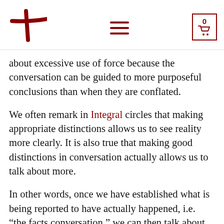Navigation header with logo, hamburger menu, and cart icon showing 0
about excessive use of force because the conversation can be guided to more purposeful conclusions than when they are conflated.
We often remark in Integral circles that making appropriate distinctions allows us to see reality more clearly. It is also true that making good distinctions in conversation actually allows us to talk about more.
In other words, once we have established what is being reported to have actually happened, i.e. “the facts conversation,” we can then talk about our feelings of anger, loss, and sadness over this young man’s death, the all-important emotional dimension that should be included in any in-